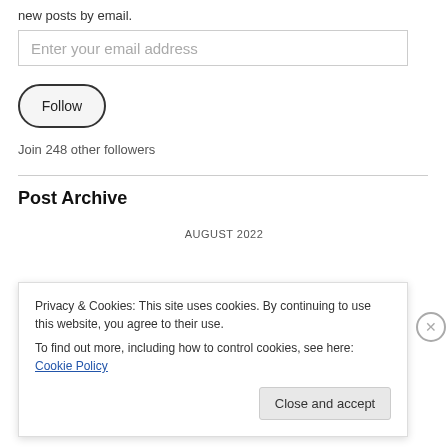new posts by email.
Enter your email address
Follow
Join 248 other followers
Post Archive
AUGUST 2022
| M | T | W | T | F | S | S |
| --- | --- | --- | --- | --- | --- | --- |
Privacy & Cookies: This site uses cookies. By continuing to use this website, you agree to their use.
To find out more, including how to control cookies, see here: Cookie Policy
Close and accept